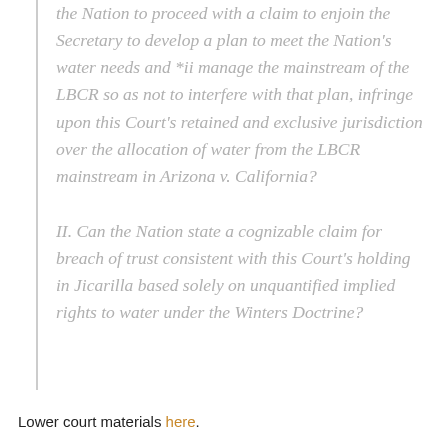the Nation to proceed with a claim to enjoin the Secretary to develop a plan to meet the Nation's water needs and *ii manage the mainstream of the LBCR so as not to interfere with that plan, infringe upon this Court's retained and exclusive jurisdiction over the allocation of water from the LBCR mainstream in Arizona v. California?
II. Can the Nation state a cognizable claim for breach of trust consistent with this Court's holding in Jicarilla based solely on unquantified implied rights to water under the Winters Doctrine?
Lower court materials here.